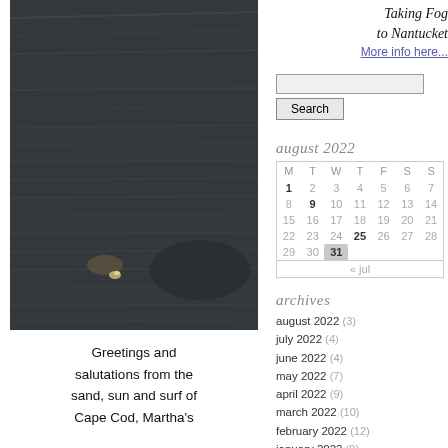[Figure (photo): Dark water surface with ripples, a small white bird or object visible in the lower-center area, taken from above at dusk or low light]
Greetings and salutations from the sand, sun and surf of Cape Cod, Martha's
Taking Fog to Nantucket
More info here...
| M | T | W | T | F | S | S |
| --- | --- | --- | --- | --- | --- | --- |
| 1 | 2 | 3 | 4 | 5 | 6 | 7 |
| 8 | 9 | 10 | 11 | 12 | 13 | 14 |
| 15 | 16 | 17 | 18 | 19 | 20 | 21 |
| 22 | 23 | 24 | 25 | 26 | 27 | 28 |
| 29 | 30 | 31 |  |  |  |  |
august 2022 (3)
july 2022 (4)
june 2022 (4)
may 2022 (7)
april 2022 (9)
march 2022 (10)
february 2022 (12)
january 2022 (9)